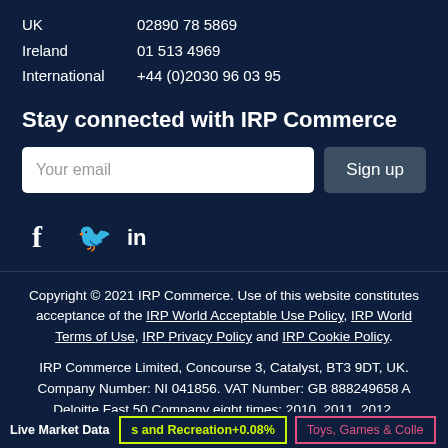UK   02890 78 5869
Ireland   01 513 4969
International   +44 (0)2030 96 03 95
Stay connected with IRP Commerce
Your email [input] Sign up
[Figure (other): Social media icons: Facebook (f), Twitter (bird), LinkedIn (in)]
Copyright © 2021 IRP Commerce. Use of this website constitutes acceptance of the IRP World Acceptable Use Policy, IRP World Terms of Use, IRP Privacy Policy and IRP Cookie Policy.
IRP Commerce Limited, Concourse 3, Catalyst, BT3 9DT, UK. Company Number: NI 041856. VAT Number: GB 888249658 A Deloitte Fast 50 Company eight times: 2010, 2011, 2012,
Live Market Data   s and Recreation +0.08%   Toys, Games & Colle